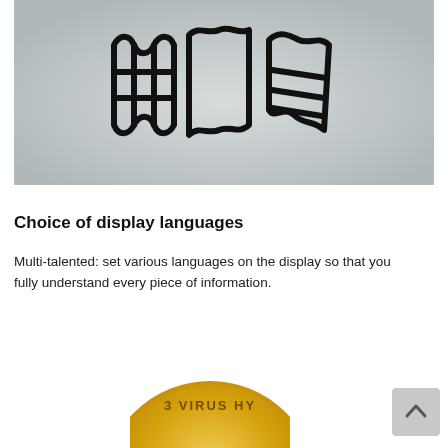[Figure (illustration): Three stylized flag icons in black outline on a light gray gradient background, representing display language options.]
Choice of display languages
Multi-talented: set various languages on the display so that you fully understand every piece of information.
[Figure (logo): Partial gold circular badge/seal with text 'VIRUS HY...' visible at the bottom of the page.]